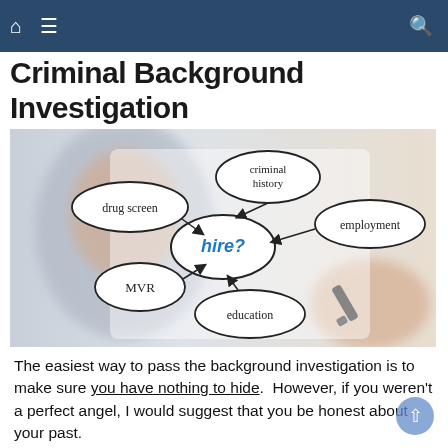Criminal Background Investigation
Criminal Background Investigation
[Figure (infographic): Concept map diagram showing 'hire?' in the center ellipse (written in blue), with arrows connecting surrounding ellipses labeled: criminal history (top), employment (right), education (bottom), MVR (left), drug screen (upper left). A person's blurred face and a hand holding a marker are visible in the background photo.]
The easiest way to pass the background investigation is to make sure you have nothing to hide. However, if you weren't a perfect angel, I would suggest that you be honest about your past.